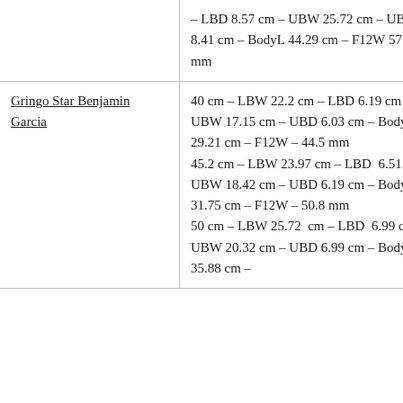|  | – LBD 8.57 cm – UBW 25.72 cm – UBD 8.41 cm – BodyL 44.29 cm – F12W 57.2 mm |
| Gringo Star Benjamin Garcia | 40 cm – LBW 22.2 cm – LBD 6.19 cm – UBW 17.15 cm – UBD 6.03 cm – BodyL 29.21 cm – F12W – 44.5 mm
45.2 cm – LBW 23.97 cm – LBD  6.51 cm – UBW 18.42 cm – UBD 6.19 cm – BodyL 31.75 cm – F12W – 50.8 mm
50 cm – LBW 25.72  cm – LBD  6.99 cm – UBW 20.32 cm – UBD 6.99 cm – BodyL 35.88 cm – |